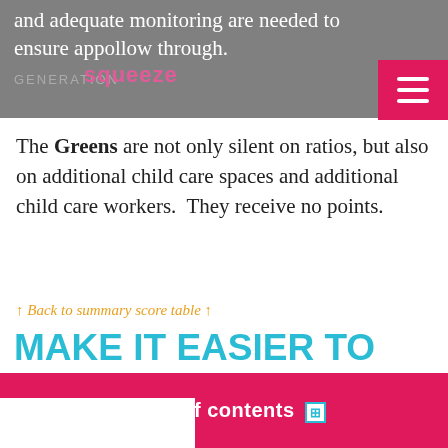and adequate monitoring are needed to ensure appropriate follow through. [squeeze overlay]
The Greens are not only silent on ratios, but also on additional child care spaces and additional child care workers. They receive no points.
↑ Back to summary score table ↑
MAKE IT EASIER TO CHOOSE TO BALANCE BOTH
| Criter… | Table of contents |
| --- | --- |